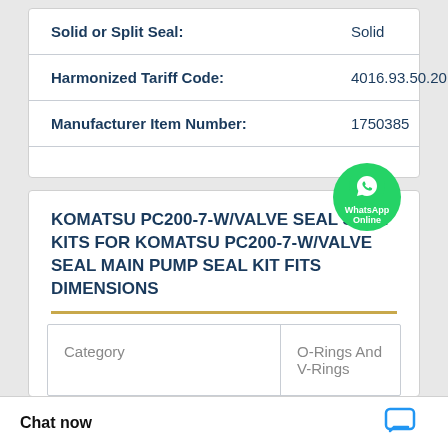| Solid or Split Seal: | Solid |
| Harmonized Tariff Code: | 4016.93.50.20 |
| Manufacturer Item Number: | 1750385 |
KOMATSU PC200-7-W/VALVE SEAL SEAL KITS FOR KOMATSU PC200-7-W/VALVE SEAL MAIN PUMP SEAL KIT FITS DIMENSIONS
| Category | O-Rings And V-Rings |
| --- | --- |